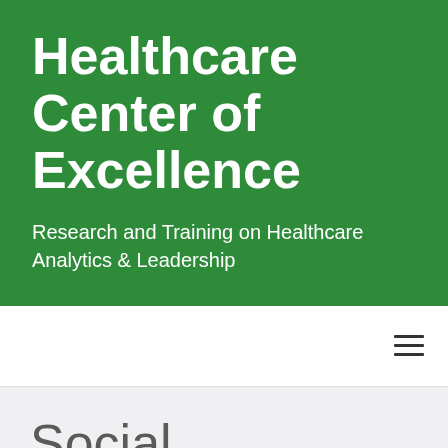Healthcare Center of Excellence
Research and Training on Healthcare Analytics & Leadership
Social Leadership Lessons from a